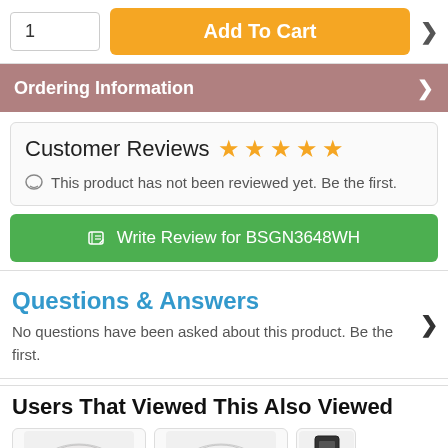1
Add To Cart
Ordering Information
Customer Reviews ☆☆☆☆☆
This product has not been reviewed yet. Be the first.
✏ Write Review for BSGN3648WH
Questions & Answers
No questions have been asked about this product. Be the first.
Users That Viewed This Also Viewed
[Figure (photo): Three product thumbnail images shown in a row]